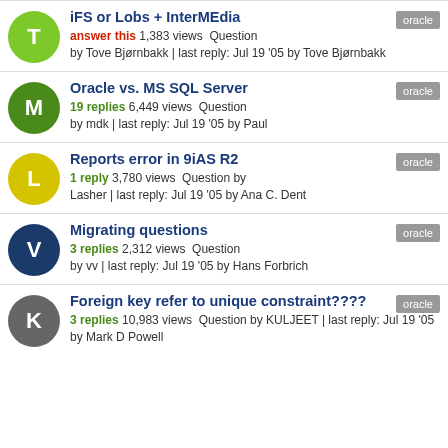iFS or Lobs + InterMEdia — answer this 1,383 views Question by Tove Bjørnbakk | last reply: Jul 19 '05 by Tove Bjørnbakk — oracle
Oracle vs. MS SQL Server — 19 replies 6,449 views Question by mdk | last reply: Jul 19 '05 by Paul — oracle
Reports error in 9iAS R2 — 1 reply 3,780 views Question by Lasher | last reply: Jul 19 '05 by Ana C. Dent — oracle
Migrating questions — 3 replies 2,312 views Question by vv | last reply: Jul 19 '05 by Hans Forbrich — oracle
Foreign key refer to unique constraint???? — 3 replies 10,983 views Question by KULJEET | last reply: Jul 19 '05 by Mark D Powell — oracle